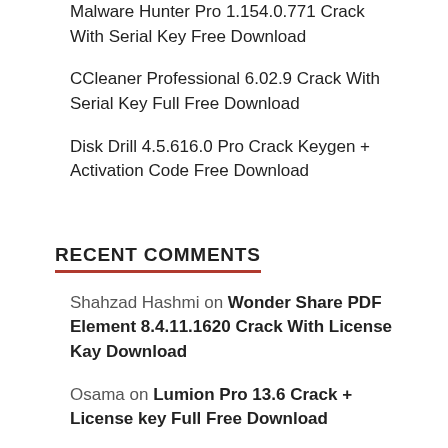Malware Hunter Pro 1.154.0.771 Crack With Serial Key Free Download
CCleaner Professional 6.02.9 Crack With Serial Key Full Free Download
Disk Drill 4.5.616.0 Pro Crack Keygen + Activation Code Free Download
RECENT COMMENTS
Shahzad Hashmi on Wonder Share PDF Element 8.4.11.1620 Crack With License Kay Download
Osama on Lumion Pro 13.6 Crack + License key Full Free Download
Jaime on Mocha Pro 9.0.3 Crack + Serial Number Full Free Download
misni on Bandicam 5.4.0.1906 Crack Keygen + Patch